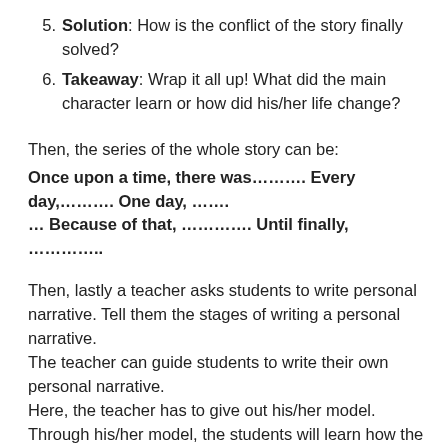5. Solution: How is the conflict of the story finally solved?
6. Takeaway: Wrap it all up! What did the main character learn or how did his/her life change?
Then, the series of the whole story can be:
Once upon a time, there was………. Every day,………. One day, …….
… Because of that, …………. Until finally, ………….
Then, lastly a teacher asks students to write personal narrative. Tell them the stages of writing a personal narrative.
The teacher can guide students to write their own personal narrative.
Here, the teacher has to give out his/her model.
Through his/her model, the students will learn how the